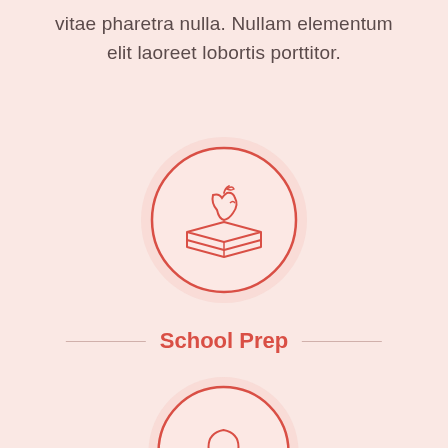vitae pharetra nulla. Nullam elementum elit laoreet lobortis porttitor.
[Figure (illustration): Red circular icon with an apple sitting on top of a book, outlined style on a light pink background]
School Prep
[Figure (illustration): Red circular icon with a lightbulb, outlined style, partially visible at bottom of page]